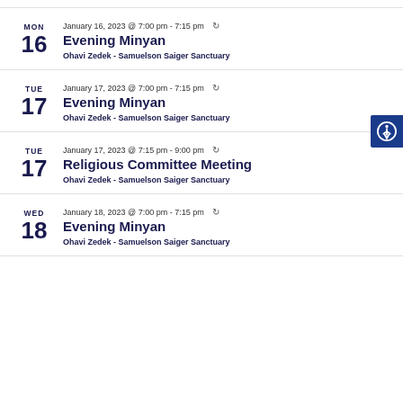MON 16 | January 16, 2023 @ 7:00 pm - 7:15 pm | Evening Minyan | Ohavi Zedek - Samuelson Saiger Sanctuary
TUE 17 | January 17, 2023 @ 7:00 pm - 7:15 pm | Evening Minyan | Ohavi Zedek - Samuelson Saiger Sanctuary
TUE 17 | January 17, 2023 @ 7:15 pm - 9:00 pm | Religious Committee Meeting | Ohavi Zedek - Samuelson Saiger Sanctuary
WED 18 | January 18, 2023 @ 7:00 pm - 7:15 pm | Evening Minyan | Ohavi Zedek - Samuelson Saiger Sanctuary